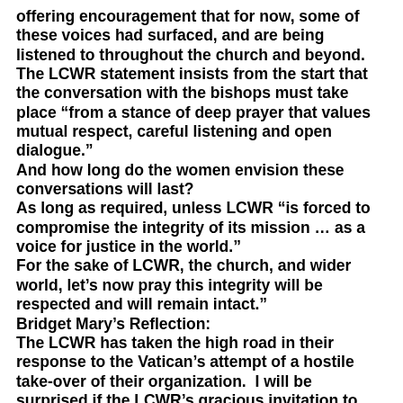offering encouragement that for now, some of these voices had surfaced, and are being listened to throughout the church and beyond.
The LCWR statement insists from the start that the conversation with the bishops must take place “from a stance of deep prayer that values mutual respect, careful listening and open dialogue.”
And how long do the women envision these conversations will last?
As long as required, unless LCWR “is forced to compromise the integrity of its mission … as a voice for justice in the world.”
For the sake of LCWR, the church, and wider world, let’s now pray this integrity will be respected and will remain intact."
Bridget Mary’s Reflection:
The LCWR has taken the high road in their response to the Vatican’s attempt of a hostile take-over of their organization.  I will be surprised if the LCWR’s gracious invitation to dialogue is accepted by Vatican representatives. However, the LCWR has made it clear that if the Vatican does not embrace this open dialogue, then they are prepared to take another path- hopefully toward independence from patriarchal control! Tom